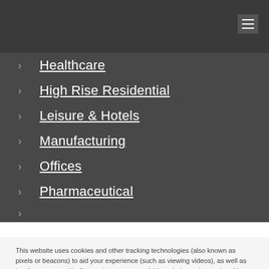Healthcare
High Rise Residential
Leisure & Hotels
Manufacturing
Offices
Pharmaceutical
This website uses cookies and other tracking technologies (also known as pixels or beacons) to aid your experience (such as viewing videos), as well as "performance cookies" to analyze your use of this website and to assist with marketing efforts. If you click the "Accept All Cookies" button or continue navigating the website, you agree to having those first and third-party cookies set on your device. If you do not wish to accept cookies from this website, you can choose to not allow cookies from this website by updating your browser preferences. For more information on how we use Cookies, please read our Privacy Policy.